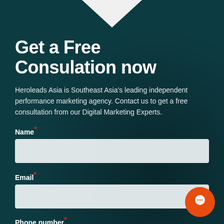Get a Free Consulation now
Heroleads Asia is Southeast Asia's leading independent performance marketing agency. Contact us to get a free consultation from our Digital Marketing Experts.
Name *
Email *
Phone number *